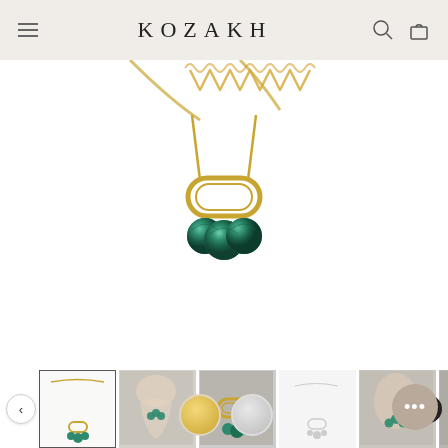KOZAKH
[Figure (photo): Close-up product photo of the Brylee Necklace showing a gold oval paperclip-style pendant with three teal/green malachite stone beads hanging from a gold chain, on white background]
[Figure (photo): Thumbnail strip showing 6 product images of the Brylee Necklace from different angles and worn on model]
KOZAKH
BRYLEE NECKLACE-$205
★ ★ ★ ★ ★ 4 REVIEWS
Metal: 14k Gold Filled